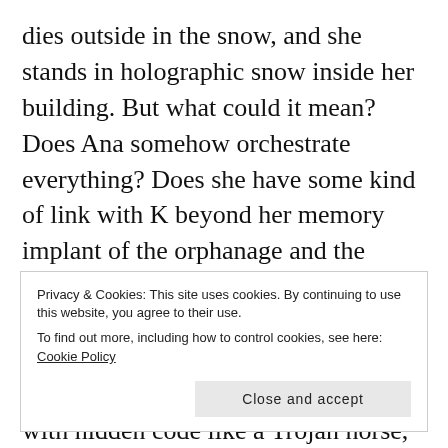dies outside in the snow, and she stands in holographic snow inside her building. But what could it mean? Does Ana somehow orchestrate everything? Does she have some kind of link with K beyond her memory implant of the orphanage and the wooden horse? Has she 'set' him on his journey through the film? Are her memory implants more than just artificial memories, are they laden with hidden code like a Trojan horse, buried programming controlling/freeing the
Privacy & Cookies: This site uses cookies. By continuing to use this website, you agree to their use.
To find out more, including how to control cookies, see here: Cookie Policy
Close and accept